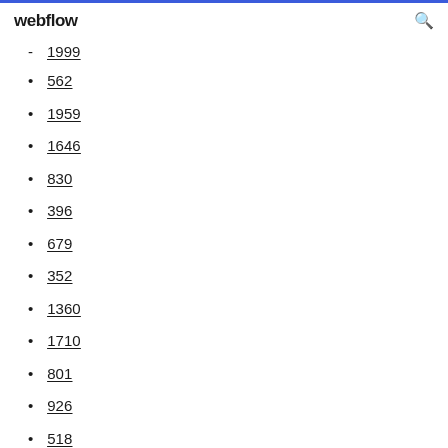webflow
1999
562
1959
1646
830
396
679
352
1360
1710
801
926
518